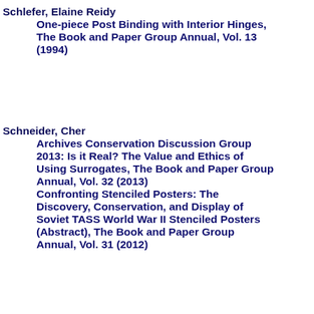Schlefer, Elaine Reidy
    One-piece Post Binding with Interior Hinges, The Book and Paper Group Annual, Vol. 13 (1994)
Schneider, Cher
    Archives Conservation Discussion Group 2013: Is it Real? The Value and Ethics of Using Surrogates, The Book and Paper Group Annual, Vol. 32 (2013)
    Confronting Stenciled Posters: The Discovery, Conservation, and Display of Soviet TASS World War II Stenciled Posters (Abstract), The Book and Paper Group Annual, Vol. 31 (2012)